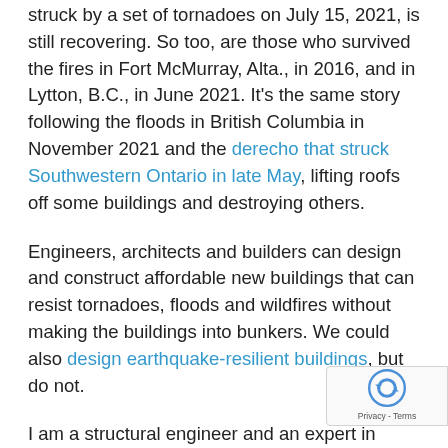struck by a set of tornadoes on July 15, 2021, is still recovering. So too, are those who survived the fires in Fort McMurray, Alta., in 2016, and in Lytton, B.C., in June 2021. It's the same story following the floods in British Columbia in November 2021 and the derecho that struck Southwestern Ontario in late May, lifting roofs off some buildings and destroying others.
Engineers, architects and builders can design and construct affordable new buildings that can resist tornadoes, floods and wildfires without making the buildings into bunkers. We could also design earthquake-resilient buildings, but do not.
I am a structural engineer and an expert in performance-based engineering and catastrophe risk management. I believe the only way to make that happen is to require our building code to minimize society's total cost to own new buildings. We have always been free to make that happen, but have a m... [text continues]